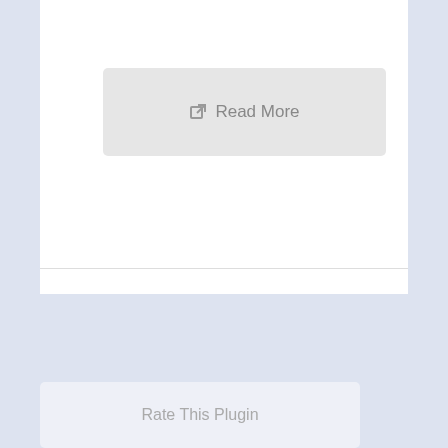[Figure (screenshot): Top white card section of a webpage showing a 'Read More' button with an external link icon on a light grey background]
contact
Form
[Figure (screenshot): A white input/search bar on a light blue-grey background]
Rate This Plugin